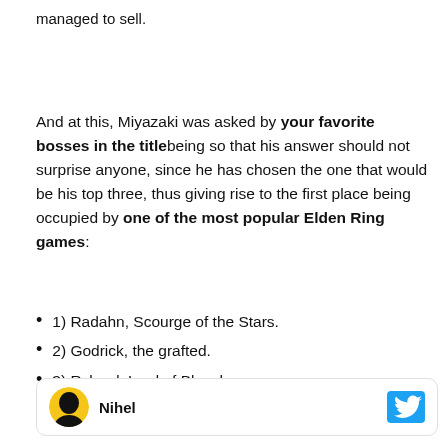managed to sell.
And at this, Miyazaki was asked by your favorite bosses in the titlebeing so that his answer should not surprise anyone, since he has chosen the one that would be his top three, thus giving rise to the first place being occupied by one of the most popular Elden Ring games:
1) Radahn, Scourge of the Stars.
2) Godrick, the grafted.
3) Rykard, Lord of Blasphemy.
Nihel